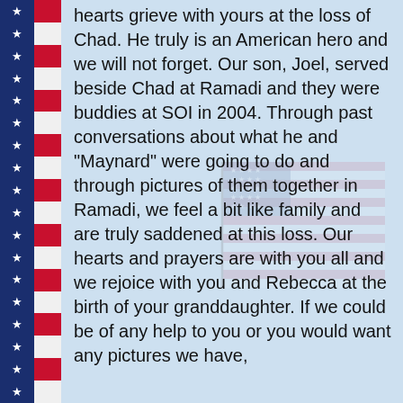[Figure (illustration): Left border consisting of an American flag strip pattern with blue field and white stars on the left, and alternating red and white horizontal stripes on the right. A faded American flag watermark appears in the center-right background.]
hearts grieve with yours at the loss of Chad. He truly is an American hero and we will not forget. Our son, Joel, served beside Chad at Ramadi and they were buddies at SOI in 2004. Through past conversations about what he and "Maynard" were going to do and through pictures of them together in Ramadi, we feel a bit like family and are truly saddened at this loss. Our hearts and prayers are with you all and we rejoice with you and Rebecca at the birth of your granddaughter. If we could be of any help to you or you would want any pictures we have,